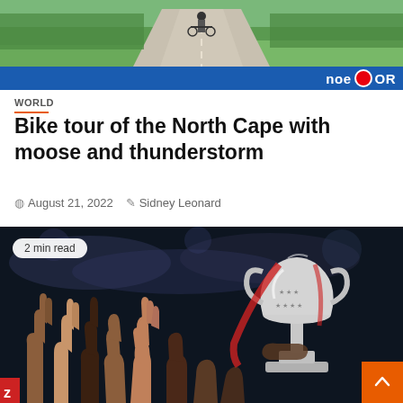[Figure (photo): Top: cyclist on a gravel road surrounded by greenery, with an ORF NOE branded blue banner overlay at bottom of image.]
WORLD
Bike tour of the North Cape with moose and thunderstorm
August 21, 2022   Sidney Leonard
[Figure (photo): Crowd celebrating with hands raised, a large silver trophy (Champions League style) being held aloft. A '2 min read' pill badge appears in the upper-left. An orange scroll-to-top arrow button is in the lower-right.]